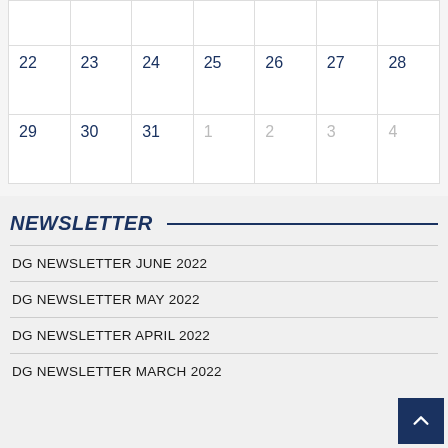|  |  |  |  |  |  |  |
| 22 | 23 | 24 | 25 | 26 | 27 | 28 |
| 29 | 30 | 31 | 1 | 2 | 3 | 4 |
NEWSLETTER
DG NEWSLETTER JUNE 2022
DG NEWSLETTER MAY 2022
DG NEWSLETTER APRIL 2022
DG NEWSLETTER MARCH 2022